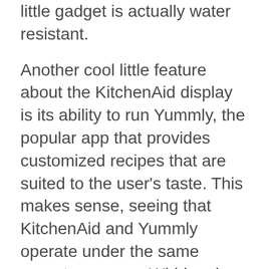little gadget is actually water resistant.
Another cool little feature about the KitchenAid display is its ability to run Yummly, the popular app that provides customized recipes that are suited to the user's taste. This makes sense, seeing that KitchenAid and Yummly operate under the same parent company, Whirlpool.
From a practical point of view, the KitchenAid smart display is simply lighter and easier to handle than other competitors such as the Lenovo Smart Display. Not to mention the interface that is incredibly easy to use.